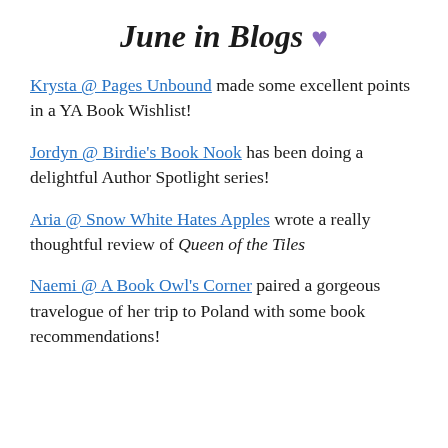June in Blogs 💜
Krysta @ Pages Unbound made some excellent points in a YA Book Wishlist!
Jordyn @ Birdie's Book Nook has been doing a delightful Author Spotlight series!
Aria @ Snow White Hates Apples wrote a really thoughtful review of Queen of the Tiles
Naemi @ A Book Owl's Corner paired a gorgeous travelogue of her trip to Poland with some book recommendations!